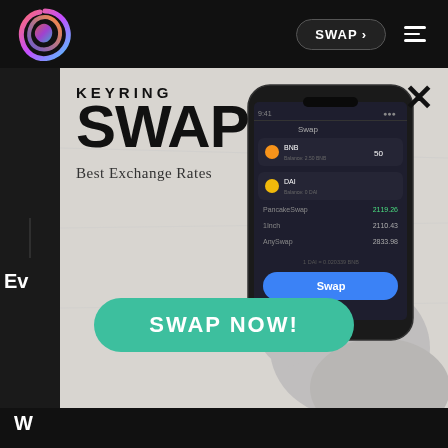[Figure (screenshot): Navigation bar with colorful Keyring logo on left, SWAP > button and hamburger menu on right, dark background]
KEYRING SWAP
Best Exchange Rates
[Figure (screenshot): Hand holding smartphone showing Keyring Swap app interface with exchange rates: PancakeSwap 2119.26, 1Inch 2110.43, AnySwap 2833.98, and a blue SWAP button]
SWAP NOW!
Ev
W